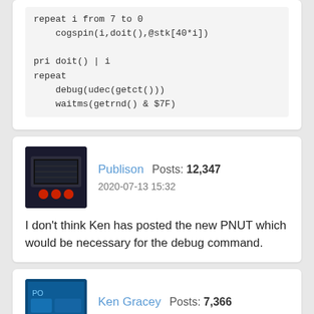repeat i from 7 to 0
    cogspin(i,doit(),@stk[40*i])

pri doit() | i
repeat
    debug(udec(getct()))
    waitms(getrnd() & $7F)
[Figure (photo): Avatar of user Publison - dark background with electronic components]
Publison  Posts: 12,347
2020-07-13 15:32
I don't think Ken has posted the new PNUT which would be necessary for the debug command.
[Figure (photo): Avatar of user Ken Gracey - blue circuit board]
Ken Gracey  Posts: 7,366
2020-07-13 15:53
Publison wrote: »
I don't think Ken has posted the new PNUT which